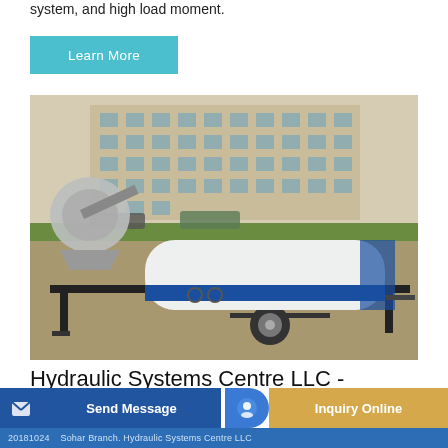system, and high load moment.
Learn More
[Figure (photo): A white and blue trailer-mounted hydraulic concrete pump unit parked on a gravel lot with a multi-story building in the background.]
Hydraulic Systems Centre LLC - Infopages Oman
Send Message   Inquiry Online
20181024 · Sohar Branch. Hydraulic Systems Centre LLC